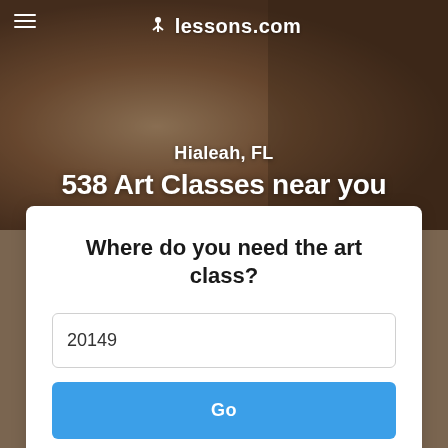lessons.com
Hialeah, FL
538 Art Classes near you
Where do you need the art class?
20149
Go